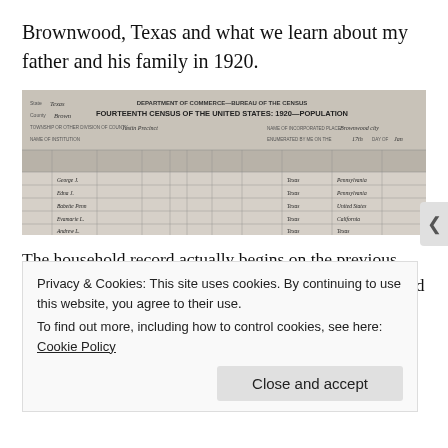Brownwood, Texas and what we learn about my father and his family in 1920.
[Figure (photo): Scanned image of the Fourteenth Census of the United States: 1920—Population form, showing handwritten entries for a household in Brownwood, Texas. State: Texas, County: Brown. Columns include place of abode, name, relation, citizenship, age, birthplace, mother tongue, occupation, and other details.]
The household record actually begins on the previous page.  It is probably difficult for you to see this page (and you certainly can't see the previous page because I
Privacy & Cookies: This site uses cookies. By continuing to use this website, you agree to their use.
To find out more, including how to control cookies, see here: Cookie Policy
Close and accept